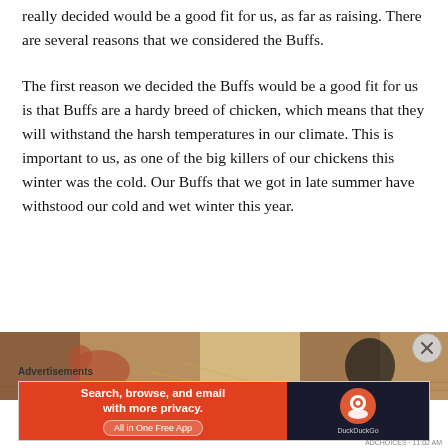really decided would be a good fit for us, as far as raising. There are several reasons that we considered the Buffs.
The first reason we decided the Buffs would be a good fit for us is that Buffs are a hardy breed of chicken, which means that they will withstand the harsh temperatures in our climate. This is important to us, as one of the big killers of our chickens this winter was the cold. Our Buffs that we got in late summer have withstood our cold and wet winter this year.
[Figure (photo): Partial photo of chickens in straw/hay, cropped at bottom of visible area]
Advertisements
[Figure (other): DuckDuckGo advertisement banner: 'Search, browse, and email with more privacy. All in One Free App' on orange background with DuckDuckGo logo on dark background]